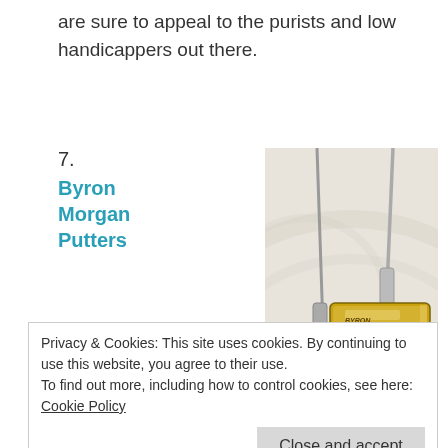are sure to appeal to the purists and low handicappers out there.
7. Byron Morgan Putters
[Figure (photo): Two gold/brass-colored Byron Morgan putters photographed on a white textured background, showing the putter heads and portions of the shafts.]
– Another small putter maker,
Privacy & Cookies: This site uses cookies. By continuing to use this website, you agree to their use.
To find out more, including how to control cookies, see here: Cookie Policy
Byron Morgan is one of the few people out there